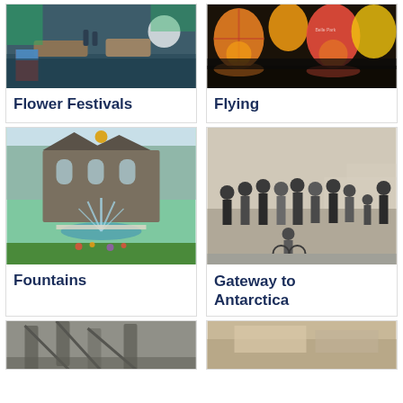[Figure (photo): Photo of flower festival scene with boats on water and decorations]
Flower Festivals
[Figure (photo): Photo of hot air balloons glowing at night]
Flying
[Figure (photo): Photo of a stone building with fountains in garden]
Fountains
[Figure (photo): Black and white photo of a group of people at an airport]
Gateway to Antarctica
[Figure (photo): Partial photo of what appears to be a mechanical or industrial structure, greyscale]
[Figure (photo): Partial photo at bottom right, partially visible]